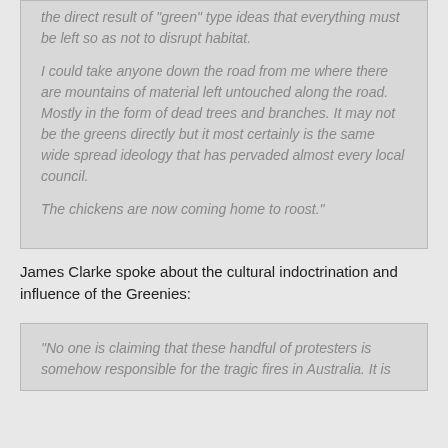the direct result of “green” type ideas that everything must be left so as not to disrupt habitat.

I could take anyone down the road from me where there are mountains of material left untouched along the road. Mostly in the form of dead trees and branches. It may not be the greens directly but it most certainly is the same wide spread ideology that has pervaded almost every local council.

The chickens are now coming home to roost.”
James Clarke spoke about the cultural indoctrination and influence of the Greenies:
“No one is claiming that these handful of protesters is somehow responsible for the tragic fires in Australia. It is